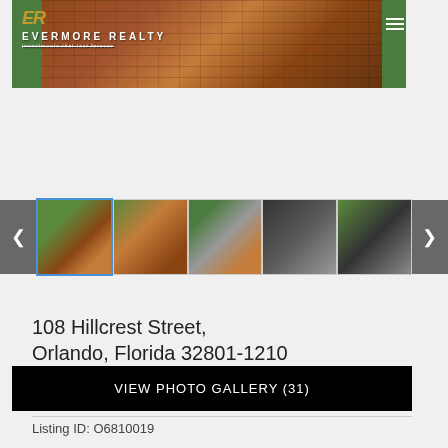[Figure (photo): Evermore Realty hero banner showing brick walkway with green lawn, logo overlay]
[Figure (photo): Thumbnail gallery strip with 5 property photos including house exterior, aerial views]
VIEW PHOTO GALLERY (31)
[Figure (infographic): Social share buttons: share, Facebook, Twitter, LinkedIn, Pinterest, email, SMS]
108 Hillcrest Street,
Orlando, Florida 32801-1210
Listing ID: O6810019